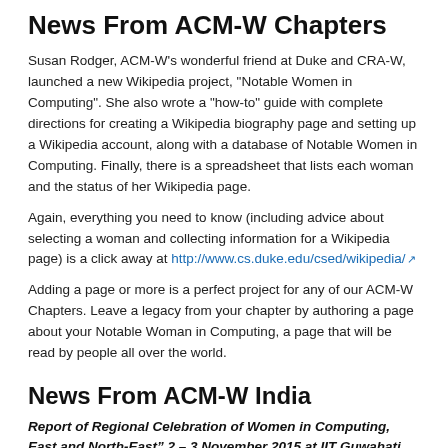News From ACM-W Chapters
Susan Rodger, ACM-W’s wonderful friend at Duke and CRA-W, launched a new Wikipedia project, "Notable Women in Computing".  She also wrote a "how-to" guide with complete directions for creating a Wikipedia biography page and setting up a Wikipedia account, along with a database of Notable Women in Computing.  Finally, there is a spreadsheet that lists each woman and the status of her Wikipedia page.
Again, everything you need to know (including advice about selecting a woman and collecting information for a Wikipedia page) is a click away at http://www.cs.duke.edu/csed/wikipedia/
Adding a page or more is a perfect project for any of our ACM-W Chapters.  Leave a legacy from your chapter by authoring a page about your Notable Woman in Computing, a page that will be read by people all over the world.
News From ACM-W India
Report of Regional Celebration of Women in Computing, East and North-East” 2 – 3 November 2015 at IIT Guwahati